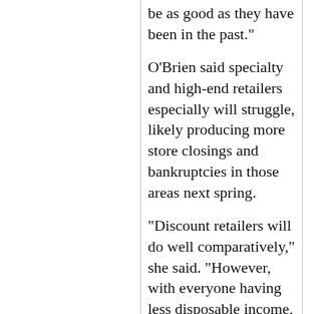be as good as they have been in the past."
O'Brien said specialty and high-end retailers especially will struggle, likely producing more store closings and bankruptcies in those areas next spring.
"Discount retailers will do well comparatively," she said. "However, with everyone having less disposable income, they won't make up for the losses in other areas of retail."
"I predict a lot more of the holiday shopping will be